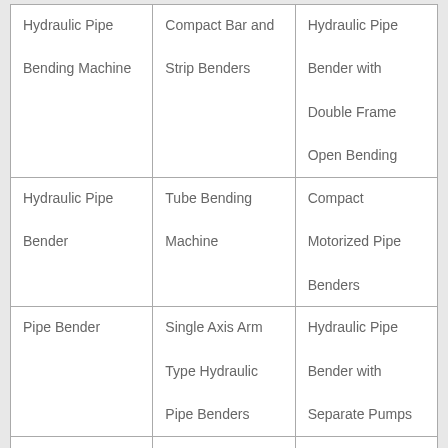| Hydraulic Pipe Bending Machine | Compact Bar and Strip Benders | Hydraulic Pipe Bender with Double Frame Open Bending |
| Hydraulic Pipe Bender | Tube Bending Machine | Compact Motorized Pipe Benders |
| Pipe Bender | Single Axis Arm Type Hydraulic Pipe Benders | Hydraulic Pipe Bender with Separate Pumps |
| Pipe Bending Machine |  |  |
| Wrenches |  |  |
| Pipe Wrench | Claw type Valve Wheel Wrench | Chain Pipe Wrench Forged |